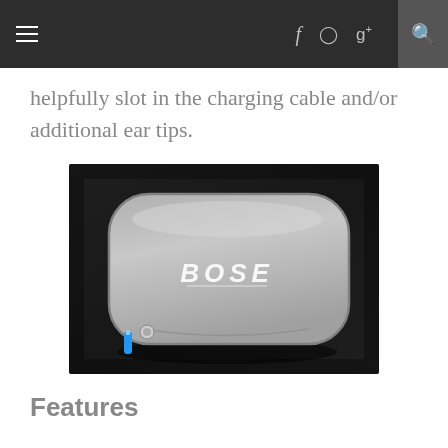Navigation bar with menu, social icons (f, pinterest, g+), and search
helpfully slot in the charging cable and/or additional ear tips.
[Figure (photo): A gray Bose branded earphone carrying case with a blue zipper pull, photographed on a dark wooden surface.]
Features